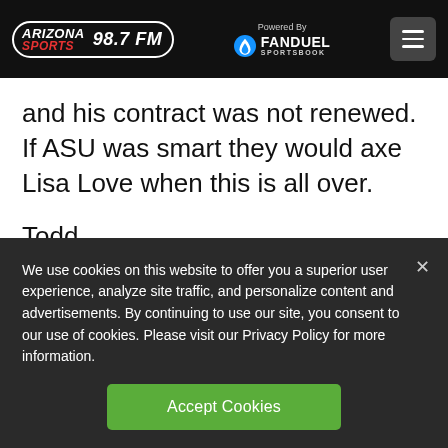Arizona Sports 98.7 FM — Powered By FanDuel Sportsbook
and his contract was not renewed. If ASU was smart they would axe Lisa Love when this is all over.
Todd
I think it was the ASt...
We use cookies on this website to offer you a superior user experience, analyze site traffic, and personalize content and advertisements. By continuing to use our site, you consent to our use of cookies. Please visit our Privacy Policy for more information.
Accept Cookies